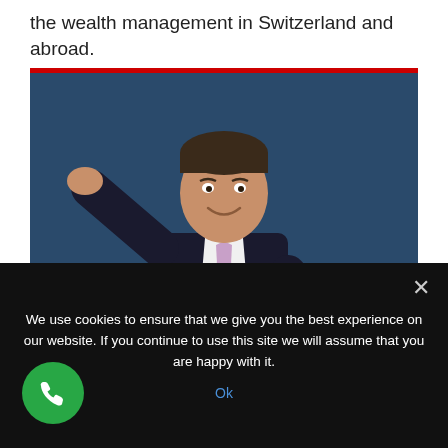the wealth management in Switzerland and abroad.
[Figure (photo): Man in dark suit with lavender tie gesturing with open hand, against dark blue background, with red top border]
We use cookies to ensure that we give you the best experience on our website. If you continue to use this site we will assume that you are happy with it.
Ok